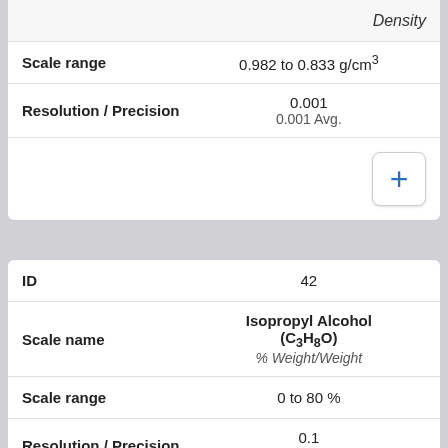|  | Density |
| --- | --- |
| Scale range | 0.982 to 0.833 g/cm³ |
| Resolution / Precision | 0.001
0.001 Avg. |
|  | + |
| ID | 42 |
| Scale name | Isopropyl Alcohol (C3H8O)
% Weight/Weight |
| Scale range | 0 to 80 % |
| Resolution / Precision | 0.1
0.25 Avg. |